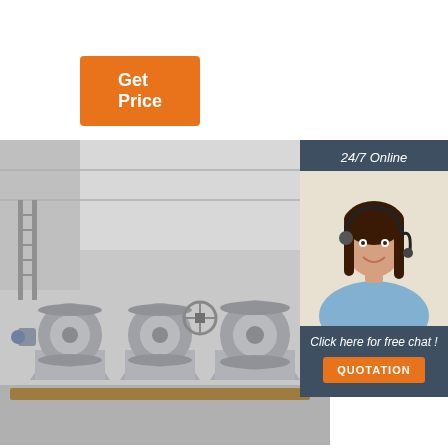Get Price
[Figure (photo): Industrial marine winches/mooring winches in a warehouse/factory setting, painted light grey, multiple units lined up on wooden pallets]
[Figure (photo): Customer service agent — a smiling woman with dark hair wearing a headset and light blue shirt, with '24/7 Online' label above and 'Click here for free chat!' and 'QUOTATION' button below]